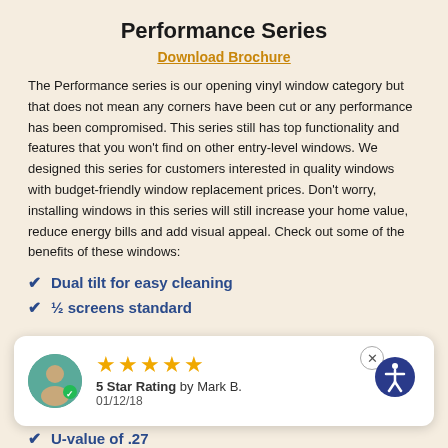Performance Series
Download Brochure
The Performance series is our opening vinyl window category but that does not mean any corners have been cut or any performance has been compromised. This series still has top functionality and features that you won't find on other entry-level windows. We designed this series for customers interested in quality windows with budget-friendly window replacement prices. Don't worry, installing windows in this series will still increase your home value, reduce energy bills and add visual appeal. Check out some of the benefits of these windows:
Dual tilt for easy cleaning
½ screens standard
[Figure (other): Review overlay with avatar, 5 gold stars, '5 Star Rating by Mark B.' and date 01/12/18, with close button and accessibility icon]
U-value of .27